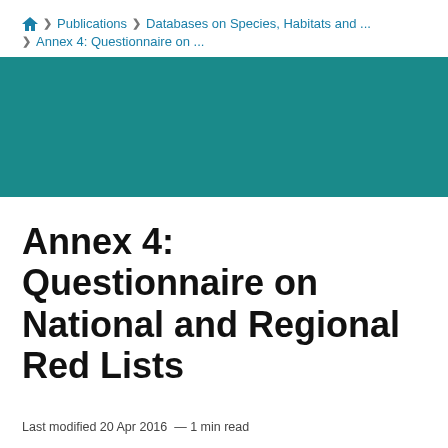Home > Publications > Databases on Species, Habitats and ... > Annex 4: Questionnaire on ...
[Figure (other): Teal/dark cyan colored banner background image]
Annex 4: Questionnaire on National and Regional Red Lists
Last modified 20 Apr 2016 — 1 min read